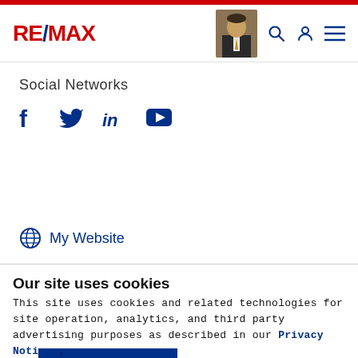RE/MAX
Social Networks
[Figure (other): Social media icons: Facebook, Twitter, LinkedIn, YouTube]
CONTACT ME
My Website
Our site uses cookies
This site uses cookies and related technologies for site operation, analytics, and third party advertising purposes as described in our Privacy Notice .
ACCEPT